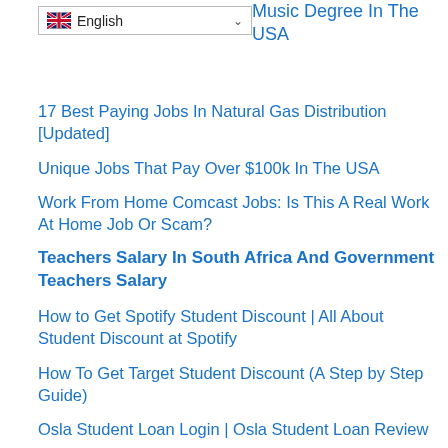English (language selector)
Music Degree In The USA
17 Best Paying Jobs In Natural Gas Distribution [Updated]
Unique Jobs That Pay Over $100k In The USA
Work From Home Comcast Jobs: Is This A Real Work At Home Job Or Scam?
Teachers Salary In South Africa And Government Teachers Salary
How to Get Spotify Student Discount | All About Student Discount at Spotify
How To Get Target Student Discount (A Step by Step Guide)
Osla Student Loan Login | Osla Student Loan Review
How to Get Nike Student Discount | Nike